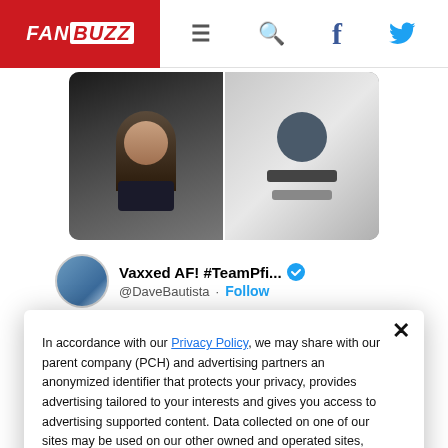FANBUZZ
[Figure (screenshot): Two side-by-side photos: left shows a muscular bald man yelling in a leather jacket, right shows men in suits restraining someone on the ground]
Vaxxed AF! #TeamPfi... @DaveBautista · Follow
Party's just gettin started my man 😎
In accordance with our Privacy Policy, we may share with our parent company (PCH) and advertising partners an anonymized identifier that protects your privacy, provides advertising tailored to your interests and gives you access to advertising supported content. Data collected on one of our sites may be used on our other owned and operated sites, which sites are identified in our Privacy Policy. All of our sites are governed by the same Privacy Policy, and by proceeding to access this site, you are consenting to that Privacy Policy.